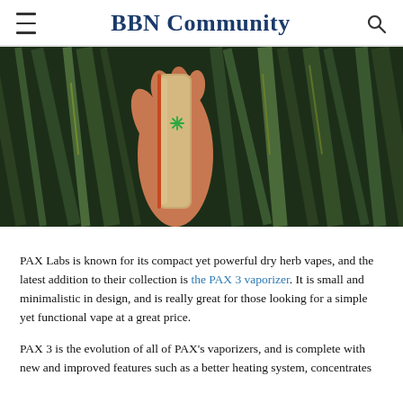BBN Community
[Figure (photo): A hand holding a PAX 3 vaporizer device (tan/gold colored, rectangular) with green plant leaves in the background. A small green asterisk/flower icon is visible on the device.]
PAX Labs is known for its compact yet powerful dry herb vapes, and the latest addition to their collection is the PAX 3 vaporizer. It is small and minimalistic in design, and is really great for those looking for a simple yet functional vape at a great price.
PAX 3 is the evolution of all of PAX's vaporizers, and is complete with new and improved features such as a better heating system, concentrates